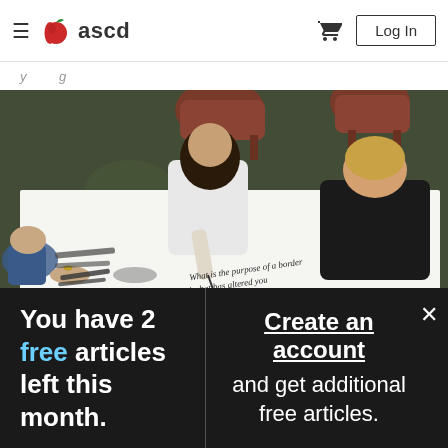ascd - Log In
...
[Figure (photo): Students leaning over a large paper on a table writing notes. Text visible on paper reads: 'What is the purpose of a border and what has altered you to this question?']
You have 2 free articles left this month.
Create an account and get additional free articles.